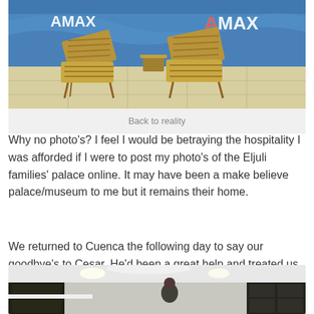[Figure (photo): Photo of wooden beach/lounge chairs on a tiled floor in front of a blue wave-themed banner with 'AMAX' branding. Caption: 'Back to reality'.]
Back to reality
Why no photo's? I feel I would be betraying the hospitality I was afforded if I were to post my photo's of the Eljuli families' palace online. It may have been a make believe palace/museum to me but it remains their home.
We returned to Cuenca the following day to say our goodbye's to Cesar. He'd been a great help and treated us all like brothers so we had to take him back to the Taj Mahal one last time.
[Figure (photo): Interior photo of a modern kitchen/room with dark cabinets, white counters, recessed lighting in white ceiling, and a person visible in the background.]